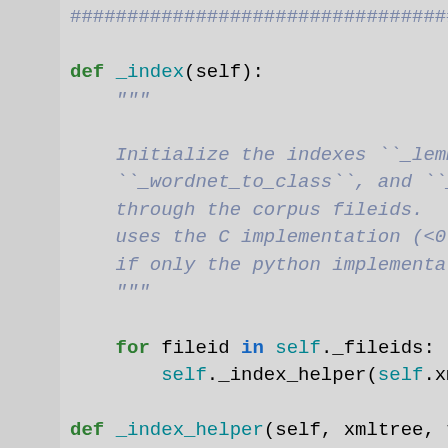################################...
def _index(self):
"""
Initialize the indexes ``_lemm ``_wordnet_to_class``, and ``_ through the corpus fileids.  T uses the C implementation (<0. if only the python implementat
"""
for fileid in self._fileids:
self._index_helper(self.xm
def _index_helper(self, xmltree, f
"""Helper for ``_index()``"""
vnclass = xmltree.get("ID")
self._class_to_fileid[vnclass]